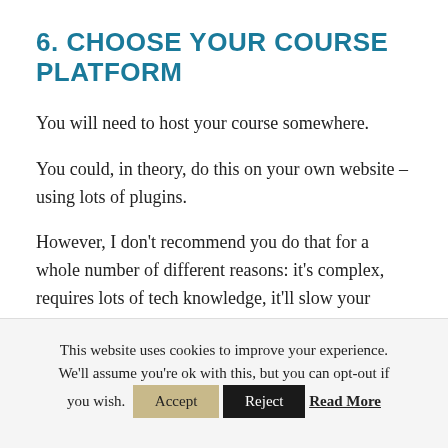6. CHOOSE YOUR COURSE PLATFORM
You will need to host your course somewhere.
You could, in theory, do this on your own website – using lots of plugins.
However, I don't recommend you do that for a whole number of different reasons: it's complex, requires lots of tech knowledge, it'll slow your
This website uses cookies to improve your experience. We'll assume you're ok with this, but you can opt-out if you wish. Accept Reject Read More